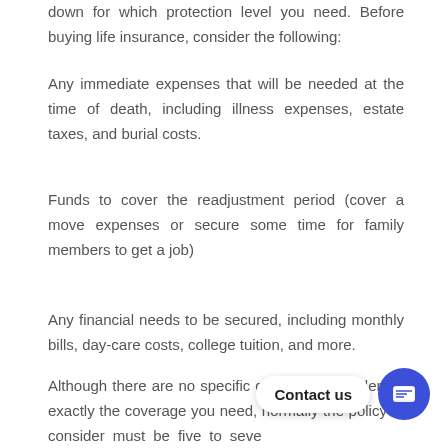down for which protection level you need. Before buying life insurance, consider the following:
Any immediate expenses that will be needed at the time of death, including illness expenses, estate taxes, and burial costs.
Funds to cover the readjustment period (cover a move expenses or secure some time for family members to get a job)
Any financial needs to be secured, including monthly bills, day-care costs, college tuition, and more.
Although there are no specific calculations to identify exactly the coverage you need, normally the policy to consider must be five to seven times your annual income.